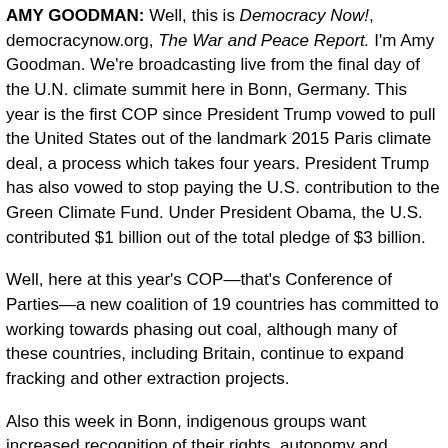AMY GOODMAN: Well, this is Democracy Now!, democracynow.org, The War and Peace Report. I'm Amy Goodman. We're broadcasting live from the final day of the U.N. climate summit here in Bonn, Germany. This year is the first COP since President Trump vowed to pull the United States out of the landmark 2015 Paris climate deal, a process which takes four years. President Trump has also vowed to stop paying the U.S. contribution to the Green Climate Fund. Under President Obama, the U.S. contributed $1 billion out of the total pledge of $3 billion.
Well, here at this year's COP—that's Conference of Parties—a new coalition of 19 countries has committed to working towards phasing out coal, although many of these countries, including Britain, continue to expand fracking and other extraction projects.
Also this week in Bonn, indigenous groups want increased recognition of their rights, autonomy and participation in negotiations. A document approved by negotiators this week states indigenous groups should play leadership roles in efforts to address climate change and that countries should protect...